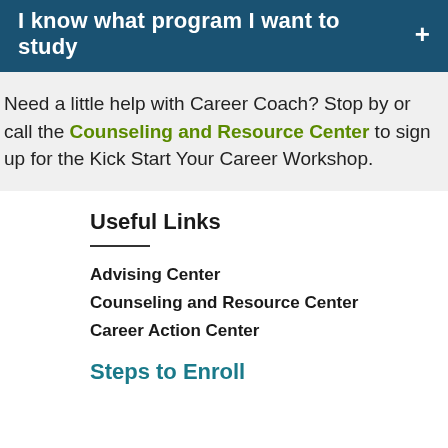I know what program I want to study +
Need a little help with Career Coach? Stop by or call the Counseling and Resource Center to sign up for the Kick Start Your Career Workshop.
Useful Links
Advising Center
Counseling and Resource Center
Career Action Center
Steps to Enroll